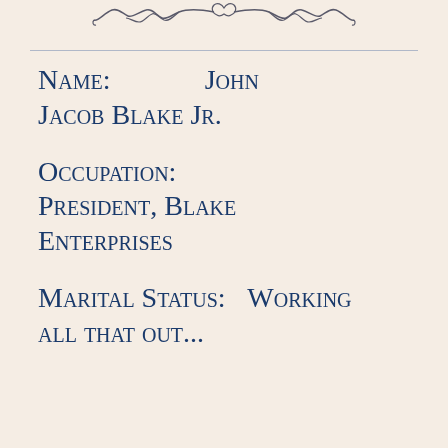[Figure (illustration): Decorative ornamental flourish/scroll design at the top of the page]
Name:    John Jacob Blake Jr.
Occupation:  President, Blake Enterprises
Marital Status:    Working all that out...